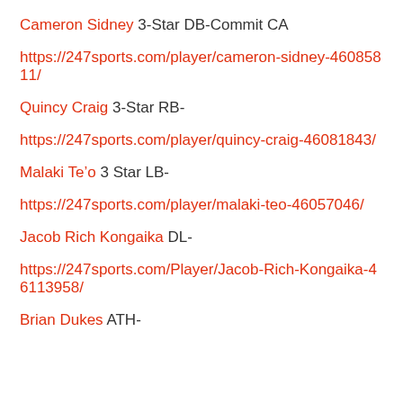Cameron Sidney 3-Star DB-Commit CA
https://247sports.com/player/cameron-sidney-46085811/
Quincy Craig 3-Star RB-
https://247sports.com/player/quincy-craig-46081843/
Malaki Te'o 3 Star LB-
https://247sports.com/player/malaki-teo-46057046/
Jacob Rich Kongaika DL-
https://247sports.com/Player/Jacob-Rich-Kongaika-46113958/
Brian Dukes ATH-